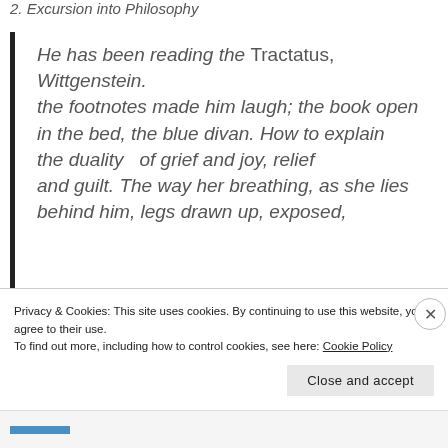2. Excursion into Philosophy
He has been reading the Tractatus, Wittgenstein.
the footnotes made him laugh; the book open
in the bed, the blue divan. How to explain
the duality  of grief and joy, relief
and guilt. The way her breathing, as she lies
behind him, legs drawn up, exposed,
Privacy & Cookies: This site uses cookies. By continuing to use this website, you agree to their use.
To find out more, including how to control cookies, see here: Cookie Policy
Close and accept